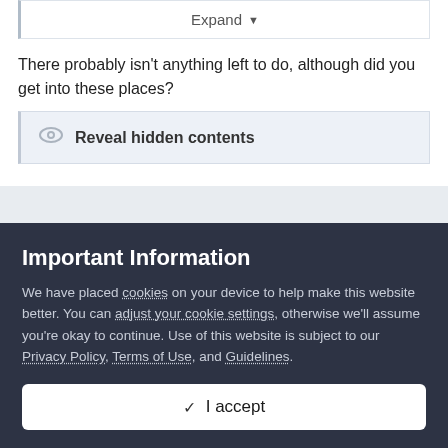[Figure (screenshot): Expand dropdown button in a bordered box]
There probably isn't anything left to do, although did you get into these places?
[Figure (screenshot): Reveal hidden contents button with eye icon in a light grey box]
[Figure (screenshot): Grey divider bar separating sections]
strawdonkey
Important Information
We have placed cookies on your device to help make this website better. You can adjust your cookie settings, otherwise we'll assume you're okay to continue. Use of this website is subject to our Privacy Policy, Terms of Use, and Guidelines.
[Figure (screenshot): I accept button with checkmark icon on white background]